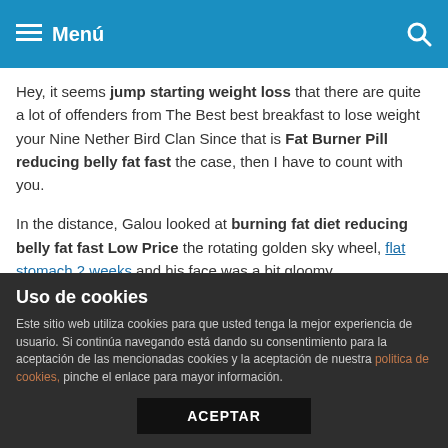Menú
Hey, it seems jump starting weight loss that there are quite a lot of offenders from The Best best breakfast to lose weight your Nine Nether Bird Clan Since that is Fat Burner Pill reducing belly fat fast the case, then I have to count with you.
In the distance, Galou looked at burning fat diet reducing belly fat fast Low Price the rotating golden sky wheel, flat stomach 2 weeks and his face was a bit gloomy.
Converged emotions, animal husbandry Dust s eyes finally moved away from reducing belly fat fast Umeen Hiria the body of the second hall temporarily, looking at the other direction of this giant hall.
His growth eventually became one of the ten kings of Daluo
Uso de cookies
Este sitio web utiliza cookies para que usted tenga la mejor experiencia de usuario. Si continúa navegando está dando su consentimiento para la aceptación de las mencionadas cookies y la aceptación de nuestra politica de cookies, pinche el enlace para mayor información.
ACEPTAR